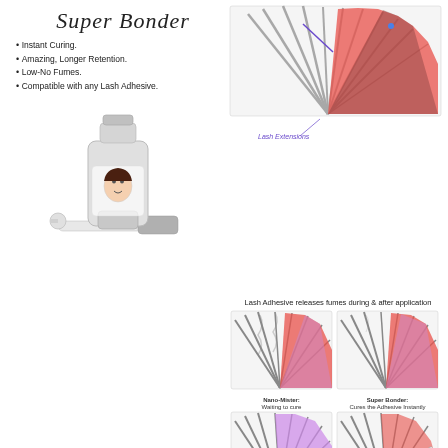Super Bonder
Instant Curing.
Amazing, Longer Retention.
Low-No Fumes.
Compatible with any Lash Adhesive.
[Figure (photo): Super Bonder product bottle with dropper on white background]
[Figure (infographic): Diagram showing lash extensions and lash adhesive fumes with labeled arrows for lash extensions, and comparison panels showing nano-mister waiting to cure vs super bonder curing adhesive instantly]
Lash Adhesive releases fumes during & after application
Nano-Mister: Waiting to cure
Super Bonder: Cures the Adhesive Instantly
Specs:
15ml Bottle - 150-200 Clients.
Works in any Humidity and Temperature.
For use with both Classic, PreMade or Volume Fans.
No Irritation.